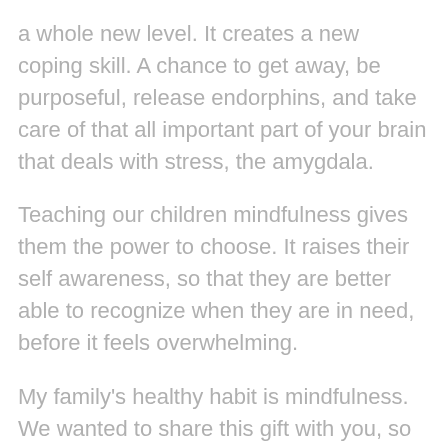a whole new level. It creates a new coping skill. A chance to get away, be purposeful, release endorphins, and take care of that all important part of your brain that deals with stress, the amygdala.
Teaching our children mindfulness gives them the power to choose. It raises their self awareness, so that they are better able to recognize when they are in need, before it feels overwhelming.
My family's healthy habit is mindfulness. We wanted to share this gift with you, so that you too can choose happiness.